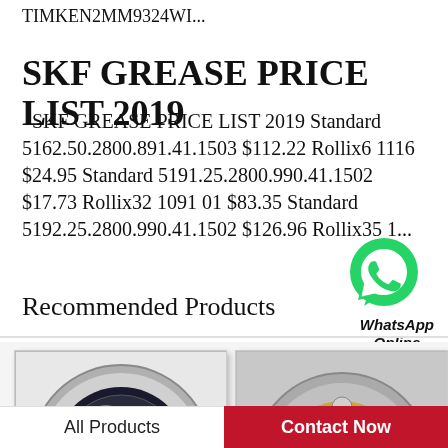TIMKEN2MM9324WI...
SKF GREASE PRICE LIST 2019
SKF GREASE PRICE LIST 2019 Standard 5162.50.2800.891.41.1503 $112.22 Rollix6 1116 $24.95 Standard 5191.25.2800.990.41.1502 $17.73 Rollix32 1091 01 $83.35 Standard 5192.25.2800.990.41.1502 $126.96 Rollix35 1...
[Figure (logo): WhatsApp green chat bubble icon with phone symbol]
WhatsApp Online
Recommended Products
[Figure (photo): Close-up photo of an angular contact ball bearing, silver/steel color with black seals, viewed from the side at an angle.]
[Figure (photo): Close-up photo of an angular contact ball bearing with gold/brass retainer and silver steel rings, showing ball bearings, viewed from an angle.]
All Products
Contact Now